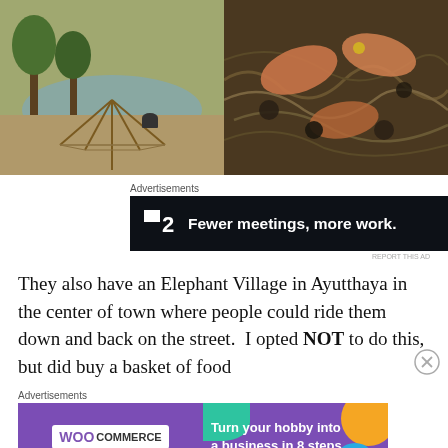[Figure (photo): Left photo: fishing trap/net structure made of bamboo poles set up near a pond with trees in background. Right photo: close-up of fish, snails, and assorted seafood in a woven basket.]
Advertisements
[Figure (other): Advertisement banner: dark background with logo showing a square icon and '2', text reads 'Fewer meetings, more work.']
REPORT THIS AD
They also have an Elephant Village in Ayutthaya in the center of town where people could ride them down and back on the street.  I opted NOT to do this, but did buy a basket of food
Advertisements
[Figure (other): WooCommerce advertisement banner: purple background with WooCommerce logo on left, text 'Turn your hobby into a business in 8 steps' on right with teal, orange, and blue decorative shapes.]
REPORT THIS AD